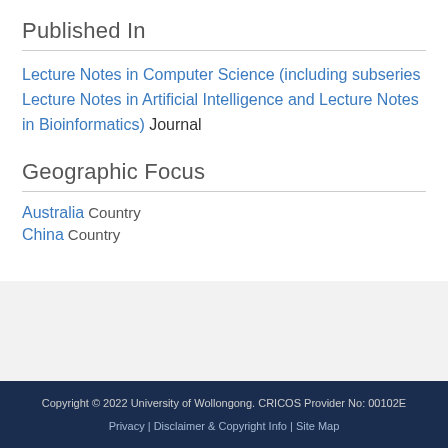Published In
Lecture Notes in Computer Science (including subseries Lecture Notes in Artificial Intelligence and Lecture Notes in Bioinformatics)  Journal
Geographic Focus
Australia  Country
China  Country
Copyright © 2022 University of Wollongong. CRICOS Provider No: 00102E
Privacy | Disclaimer & Copyright Info | Site Map